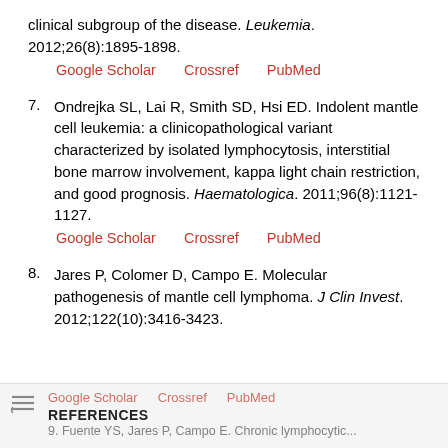clinical subgroup of the disease. Leukemia. 2012;26(8):1895-1898.
Google Scholar   Crossref   PubMed
7. Ondrejka SL, Lai R, Smith SD, Hsi ED. Indolent mantle cell leukemia: a clinicopathological variant characterized by isolated lymphocytosis, interstitial bone marrow involvement, kappa light chain restriction, and good prognosis. Haematologica. 2011;96(8):1121-1127.
Google Scholar   Crossref   PubMed
8. Jares P, Colomer D, Campo E. Molecular pathogenesis of mantle cell lymphoma. J Clin Invest. 2012;122(10):3416-3423.
Google Scholar   Crossref   PubMed
REFERENCES
9. Fuente YS, Jares P, Campo E. Chronic lymphocytic...